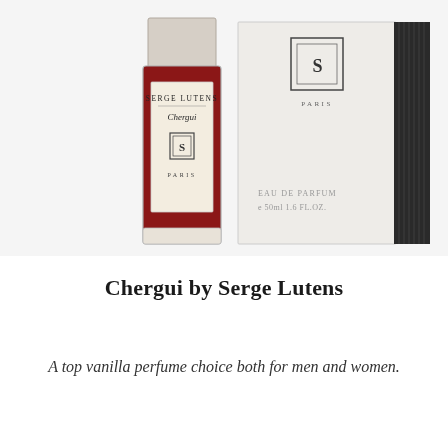[Figure (photo): A Serge Lutens Chergui perfume bottle (dark red/burgundy glass with cream label reading 'Serge Lutens Chergui' and the SL Paris logo) next to its white and black box packaging showing the SL logo, 'Paris', 'Eau de Parfum', and 'e 50ml 1.6 FL.OZ.']
Chergui by Serge Lutens
A top vanilla perfume choice both for men and women.